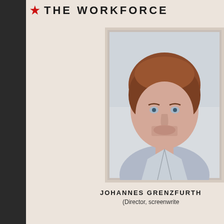THE WORKFORCE
[Figure (photo): Passport-style photo of Johannes Grenzfurthner, a young man with curly reddish-brown hair, blue eyes, light stubble, wearing a light blue collared shirt. The photo has a pinkish-beige border typical of a passport or ID photo.]
JOHANNES GRENZFURTH
(Director, screenwrite